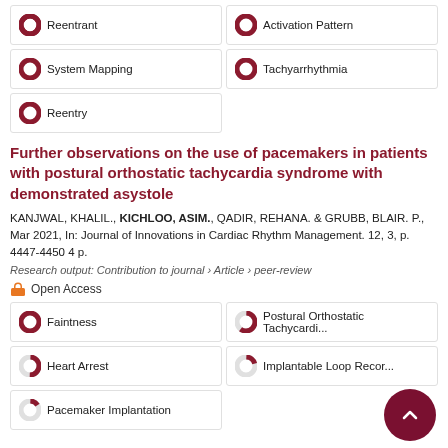100% Reentrant
100% Activation Pattern
100% System Mapping
100% Tachyarrhythmia
100% Reentry
Further observations on the use of pacemakers in patients with postural orthostatic tachycardia syndrome with demonstrated asystole
KANJWAL, KHALIL., KICHLOO, ASIM., QADIR, REHANA. & GRUBB, BLAIR. P., Mar 2021, In: Journal of Innovations in Cardiac Rhythm Management. 12, 3, p. 4447-4450 4 p.
Research output: Contribution to journal › Article › peer-review
Open Access
100% Faintness
60% Postural Orthostatic Tachycardi...
50% Heart Arrest
20% Implantable Loop Recor...
15% Pacemaker Implantation